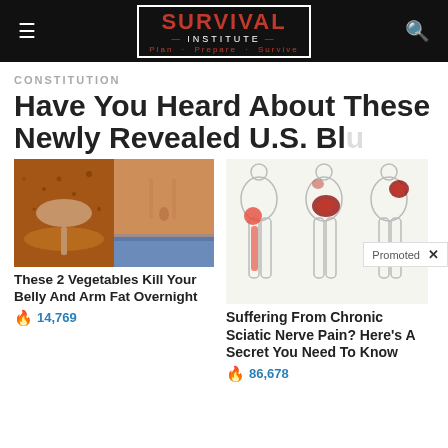SURVIVAL INSTITUTE — Plan · Prepare · Survive
CONSTITUTION
Have You Heard About These Newly Revealed U.S. Bl[ue...] e
[Figure (photo): Ad image: spoon with spice powder next to bare midriff — belly fat ad]
These 2 Vegetables Kill Your Belly And Arm Fat Overnight
🔥 14,769
[Figure (photo): Ad image: medical illustration of legs/lower body showing sciatic nerve pain highlighted in red]
Suffering From Chronic Sciatic Nerve Pain? Here's A Secret You Need To Know
🔥 86,678